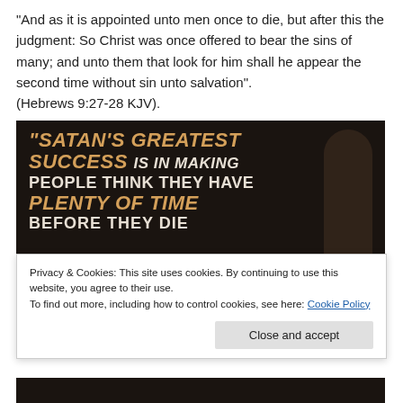“And as it is appointed unto men once to die, but after this the judgment: So Christ was once offered to bear the sins of many; and unto them that look for him shall he appear the second time without sin unto salvation”. (Hebrews 9:27-28 KJV).
[Figure (photo): Dark background motivational image with text: “SATAN’S GREATEST SUCCESS IS IN MAKING PEOPLE THINK THEY HAVE PLENTY OF TIME BEFORE THEY DIE” with a shadowy figure on the right side.]
Privacy & Cookies: This site uses cookies. By continuing to use this website, you agree to their use.
To find out more, including how to control cookies, see here: Cookie Policy
Close and accept